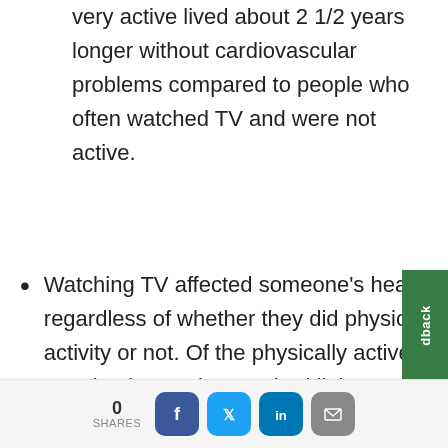very active lived about 2 1/2 years longer without cardiovascular problems compared to people who often watched TV and were not active.
Watching TV affected someone's health regardless of whether they did physical activity or not. Of the physically active people, those who watched little to no TV lived about a year longer without cardiovascular disease.
0 SHARES